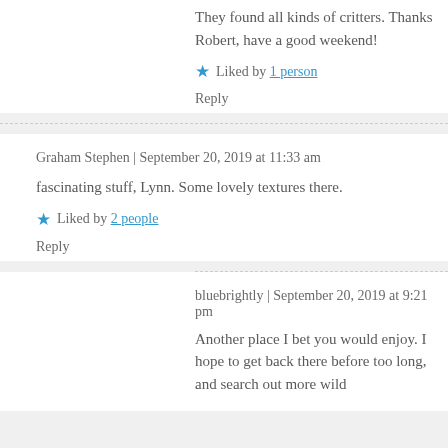They found all kinds of critters. Thanks Robert, have a good weekend!
Liked by 1 person
Reply
Graham Stephen | September 20, 2019 at 11:33 am
fascinating stuff, Lynn. Some lovely textures there.
Liked by 2 people
Reply
bluebrightly | September 20, 2019 at 9:21 pm
Another place I bet you would enjoy. I hope to get back there before too long, and search out more wild